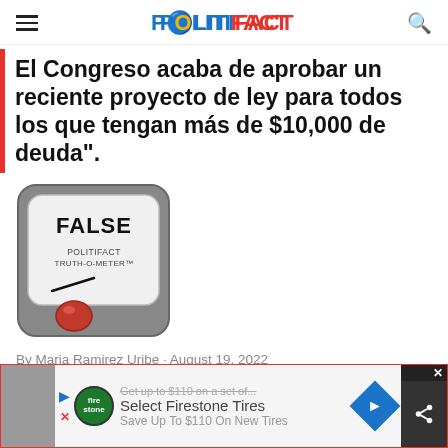POLITIFACT
El Congreso acaba de aprobar un reciente proyecto de ley para todos los que tengan más de $10,000 de deuda".
[Figure (illustration): PolitiFact Truth-o-Meter gauge showing FALSE rating with red indicator button at bottom left]
By Maria Ramirez Uribe · August 19, 2022
Select Firestone Tires
Save Up To $110 On New Tires